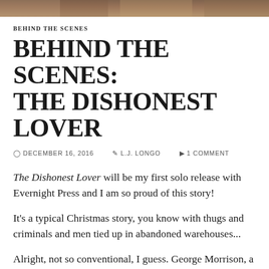[Figure (photo): Decorative header image strip, appears to be a blurred outdoor/nature photo]
BEHIND THE SCENES
BEHIND THE SCENES: THE DISHONEST LOVER
⊙ DECEMBER 16, 2016   ✏ L.J. LONGO   💬 1 COMMENT
The Dishonest Lover will be my first solo release with Evernight Press and I am so proud of this story!
It's a typical Christmas story, you know with thugs and criminals and men tied up in abandoned warehouses...
Alright, not so conventional, I guess. George Morrison, a lasped Catholic and non-practicing gay man in Ireland plans on spending his Christmas